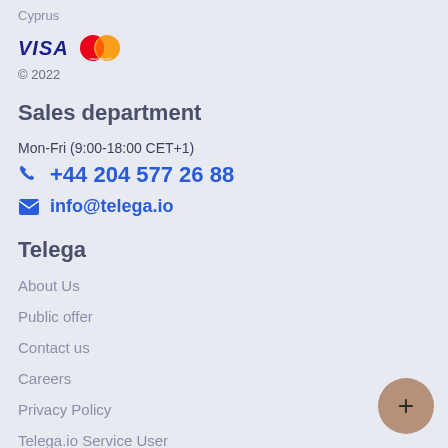Cyprus
[Figure (logo): VISA logo and Mastercard logo side by side]
© 2022
Sales department
Mon-Fri (9:00-18:00 CET+1)
+44 204 577 26 88
info@telega.io
Telega
About Us
Public offer
Contact us
Careers
Privacy Policy
Telega.io Service User